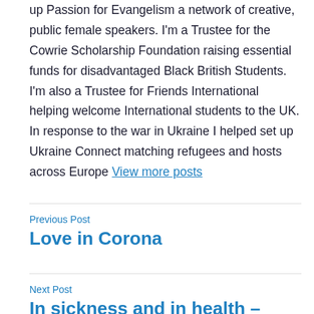up Passion for Evangelism a network of creative, public female speakers. I'm a Trustee for the Cowrie Scholarship Foundation raising essential funds for disadvantaged Black British Students. I'm also a Trustee for Friends International helping welcome International students to the UK. In response to the war in Ukraine I helped set up Ukraine Connect matching refugees and hosts across Europe View more posts
Previous Post
Love in Corona
Next Post
In sickness and in health – who is the